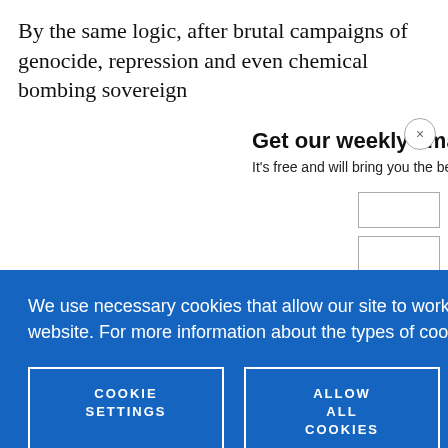By the same logic, after brutal campaigns of genocide, repression and even chemical bombing sovereign
Get our weekly email
It's free and will bring you the best from
We use necessary cookies that allow our site to work. We also set optional cookies that help us improve our website. For more information about the types of cookies we use. READ OUR COOKIES POLICY HERE
COOKIE SETTINGS
ALLOW ALL COOKIES
data.